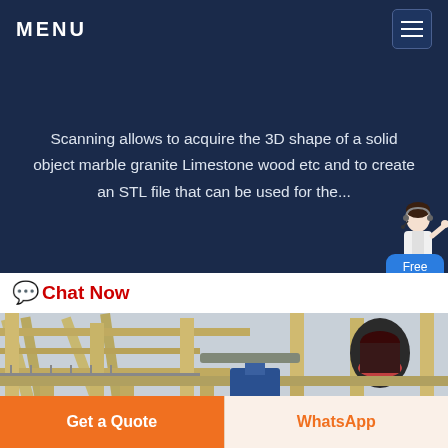MENU
Scanning allows to acquire the 3D shape of a solid object marble granite Limestone wood etc and to create an STL file that can be used for the...
Chat Now
[Figure (photo): Industrial mining or quarrying equipment facility showing large yellow/tan steel frame structure with walkways, conveyor systems, and a large black cone crusher machine, photographed from below looking up at the structure against a light sky.]
Get a Quote | WhatsApp